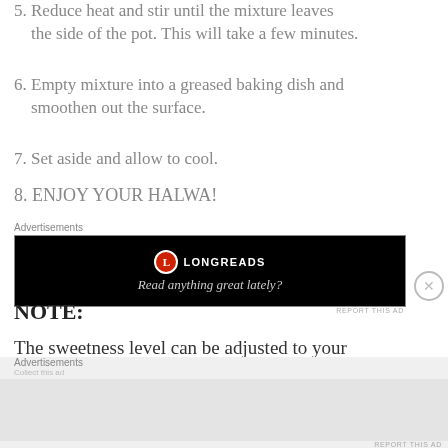5. Reduce heat and stir until the mixture leaves the side of the pot. This will take a few minutes.
6. Empty mixture into a greased baking dish and smoothen out the surface.
7. Set aside and allow to cool.
8. ENJOY YOUR HALWA!
[Figure (other): Longreads advertisement banner — black background with Longreads logo and tagline 'Read anything great lately?']
NOTE:
The sweetness level can be adjusted to your preference.
[Figure (other): Bottom advertisements bar with gray background]